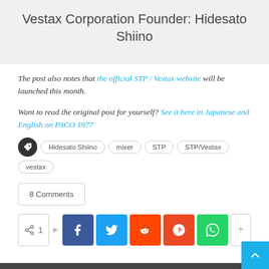Vestax Corporation Founder: Hidesato Shiino
The post also notes that the official STP / Vestax website will be launched this month.
Want to read the original post for yourself? See it here in Japanese and English on PACO 1977
Tags: Hidesato Shiino  mixer  STP  STP/Vestax  vestax
8 Comments
[Figure (infographic): Social share buttons row: share count (1), Facebook, Twitter, Reddit, StumbleUpon, WhatsApp, and more (+) buttons]